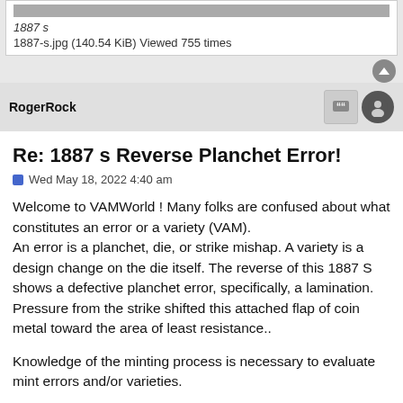[Figure (photo): Top strip of a coin image (cropped), with italic caption '1887 s' and file info '1887-s.jpg (140.54 KiB) Viewed 755 times']
1887 s
1887-s.jpg (140.54 KiB) Viewed 755 times
RogerRock
Re: 1887 s Reverse Planchet Error!
Wed May 18, 2022 4:40 am
Welcome to VAMWorld ! Many folks are confused about what constitutes an error or a variety (VAM).
An error is a planchet, die, or strike mishap. A variety is a design change on the die itself. The reverse of this 1887 S shows a defective planchet error, specifically, a lamination. Pressure from the strike shifted this attached flap of coin metal toward the area of least resistance..
Knowledge of the minting process is necessary to evaluate mint errors and/or varieties.
Stage 3 TERMINAL DIE STATE SILVER DOLLAR EXPLORER